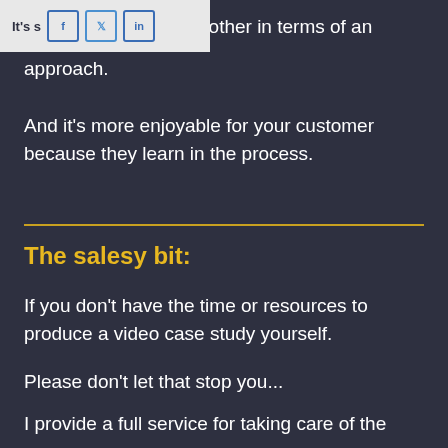[Figure (screenshot): Social media share bar with Facebook, Twitter, and LinkedIn buttons on a light gray background, partially overlapping text that reads 'It's s...']
It's s... nother in terms of an approach.
And it's more enjoyable for your customer because they learn in the process.
The salesy bit:
If you don't have the time or resources to produce a video case study yourself.
Please don't let that stop you...
I provide a full service for taking care of the